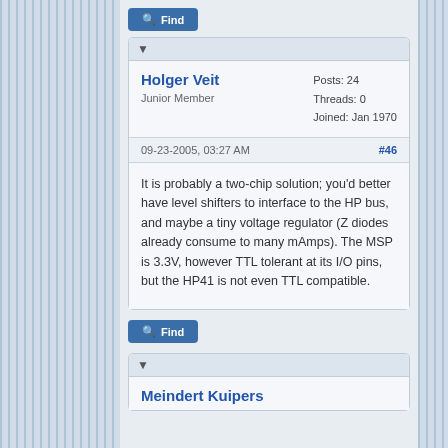[Figure (screenshot): Find button at top of forum page]
Holger Veit
Junior Member
Posts: 24
Threads: 0
Joined: Jan 1970
09-23-2005, 03:27 AM
#46
It is probably a two-chip solution; you'd better have level shifters to interface to the HP bus, and maybe a tiny voltage regulator (Z diodes already consume to many mAmps). The MSP is 3.3V, however TTL tolerant at its I/O pins, but the HP41 is not even TTL compatible.
[Figure (screenshot): Find button below post]
Meindert Kuipers